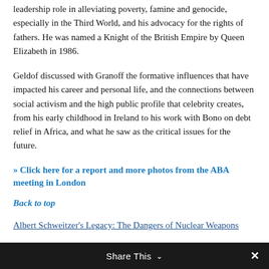leadership role in alleviating poverty, famine and genocide, especially in the Third World, and his advocacy for the rights of fathers. He was named a Knight of the British Empire by Queen Elizabeth in 1986.
Geldof discussed with Granoff the formative influences that have impacted his career and personal life, and the connections between social activism and the high public profile that celebrity creates, from his early childhood in Ireland to his work with Bono on debt relief in Africa, and what he saw as the critical issues for the future.
» Click here for a report and more photos from the ABA meeting in London
Back to top
Albert Schweitzer's Legacy: The Dangers of Nuclear Weapons
Share This ∨  ✕